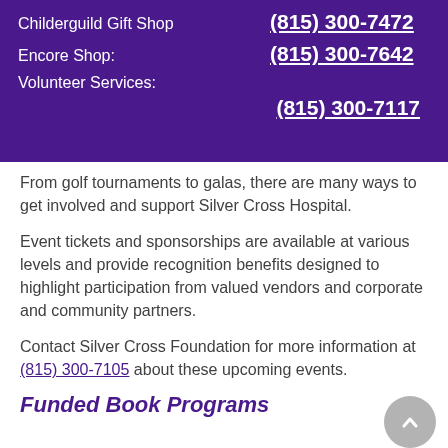Childerguild Gift Shop  (815) 300-7472
Encore Shop:  (815) 300-7642
Volunteer Services:  (815) 300-7117
From golf tournaments to galas, there are many ways to get involved and support Silver Cross Hospital.
Event tickets and sponsorships are available at various levels and provide recognition benefits designed to highlight participation from valued vendors and corporate and community partners.
Contact Silver Cross Foundation for more information at (815) 300-7105 about these upcoming events.
Funded Book Programs